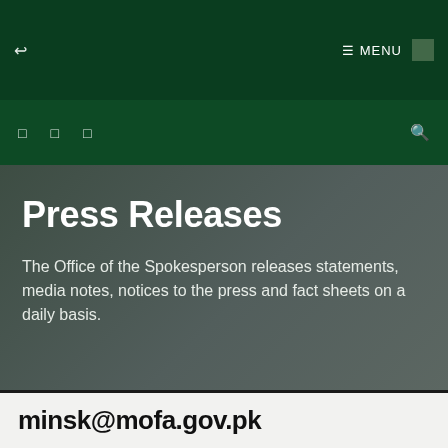↩  ☰ MENU
[Figure (screenshot): Navigation bar with social/menu icons and search icon on dark green background]
Press Releases
The Office of the Spokesperson releases statements, media notes, notices to the press and fact sheets on a daily basis.
minsk@mofa.gov.pk